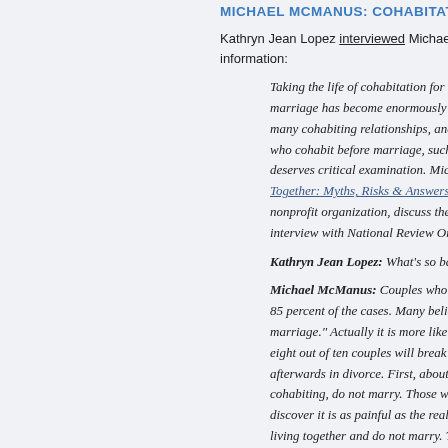MICHAEL MCMANUS: COHABITATION
Kathryn Jean Lopez interviewed Michael McManus...with information:
Taking the life of cohabitation for a t... marriage has become enormously po... many cohabiting relationships, and t... who cohabit before marriage, such a... deserves critical examination. Micha... Together: Myths, Risks & Answers, a... nonprofit organization, discuss the d... interview with National Review Onli...
Kathryn Jean Lopez: What's so bad a...
Michael McManus: Couples who live... 85 percent of the cases. Many believe... marriage." Actually it is more like a... eight out of ten couples will break up... afterwards in divorce. First, about 45... cohabiting, do not marry. Those who... discover it is as painful as the real th... living together and do not marry. Th... the marriage rate has plunged 50 t...